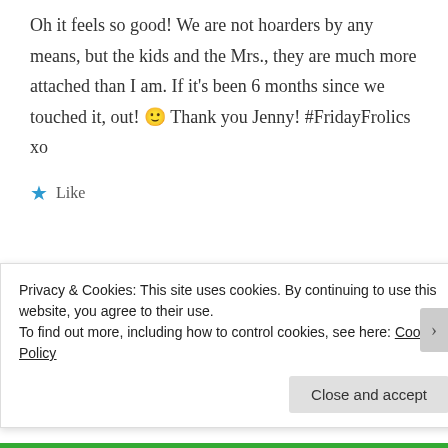Oh it feels so good! We are not hoarders by any means, but the kids and the Mrs., they are much more attached than I am. If it's been 6 months since we touched it, out! 🙂 Thank you Jenny! #FridayFrolics xo
★ Like
[Figure (photo): Author avatar thumbnail image (landscape/nature image placeholder)]
SARAH STOCKLEY
Privacy & Cookies: This site uses cookies. By continuing to use this website, you agree to their use.
To find out more, including how to control cookies, see here: Cookie Policy
Close and accept